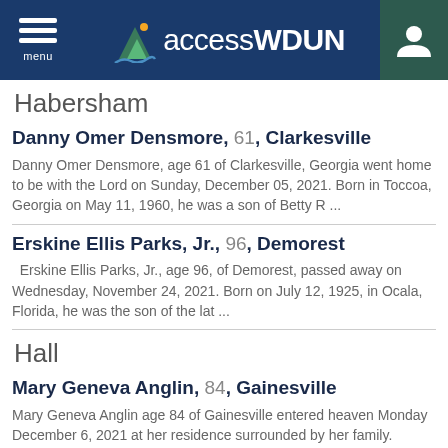menu | accessWDUN
Habersham
Danny Omer Densmore, 61, Clarkesville
Danny Omer Densmore, age 61 of Clarkesville, Georgia went home to be with the Lord on Sunday, December 05, 2021. Born in Toccoa, Georgia on May 11, 1960, he was a son of Betty R ...
Erskine Ellis Parks, Jr., 96, Demorest
Erskine Ellis Parks, Jr., age 96, of Demorest, passed away on Wednesday, November 24, 2021. Born on July 12, 1925, in Ocala, Florida, he was the son of the lat ...
Hall
Mary Geneva Anglin, 84, Gainesville
Mary Geneva Anglin age 84 of Gainesville entered heaven Monday December 6, 2021 at her residence surrounded by her family. Geneva was born September 25, 1937 in Gainesville to t ...